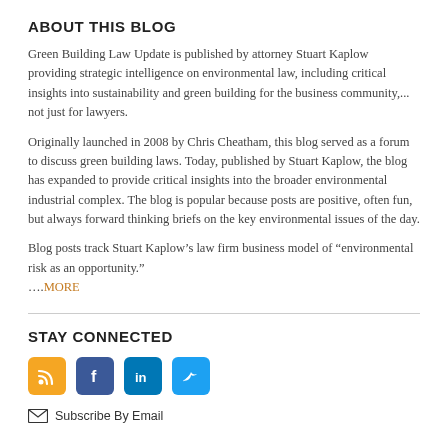ABOUT THIS BLOG
Green Building Law Update is published by attorney Stuart Kaplow providing strategic intelligence on environmental law, including critical insights into sustainability and green building for the business community,... not just for lawyers.
Originally launched in 2008 by Chris Cheatham, this blog served as a forum to discuss green building laws. Today, published by Stuart Kaplow, the blog has expanded to provide critical insights into the broader environmental industrial complex. The blog is popular because posts are positive, often fun, but always forward thinking briefs on the key environmental issues of the day.
Blog posts track Stuart Kaplow’s law firm business model of “environmental risk as an opportunity.”
....MORE
STAY CONNECTED
[Figure (infographic): Four social media icons: RSS (orange), Facebook (blue), LinkedIn (blue), Twitter (light blue)]
Subscribe By Email